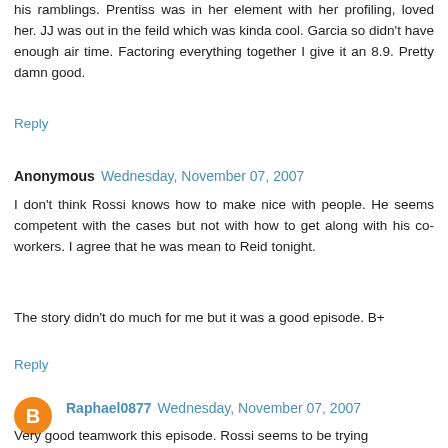his ramblings. Prentiss was in her element with her profiling, loved her. JJ was out in the feild which was kinda cool. Garcia so didn't have enough air time. Factoring everything together I give it an 8.9. Pretty damn good.
Reply
Anonymous  Wednesday, November 07, 2007
I don't think Rossi knows how to make nice with people. He seems competent with the cases but not with how to get along with his co-workers. I agree that he was mean to Reid tonight.
The story didn't do much for me but it was a good episode. B+
Reply
Raphael0877  Wednesday, November 07, 2007
Very good teamwork this episode. Rossi seems to be trying